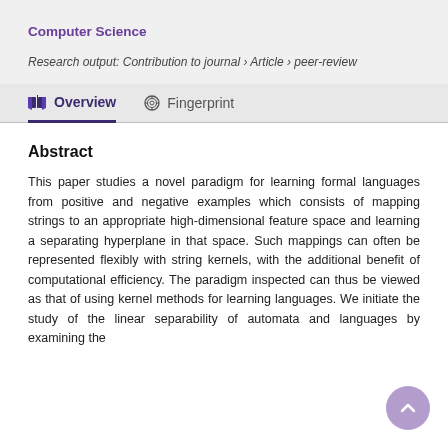Computer Science
Research output: Contribution to journal › Article › peer-review
Overview   Fingerprint
Abstract
This paper studies a novel paradigm for learning formal languages from positive and negative examples which consists of mapping strings to an appropriate high-dimensional feature space and learning a separating hyperplane in that space. Such mappings can often be represented flexibly with string kernels, with the additional benefit of computational efficiency. The paradigm inspected can thus be viewed as that of using kernel methods for learning languages. We initiate the study of the linear separability of automata and languages by examining the